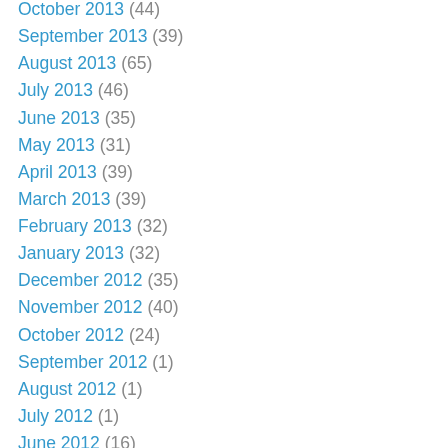October 2013 (44)
September 2013 (39)
August 2013 (65)
July 2013 (46)
June 2013 (35)
May 2013 (31)
April 2013 (39)
March 2013 (39)
February 2013 (32)
January 2013 (32)
December 2012 (35)
November 2012 (40)
October 2012 (24)
September 2012 (1)
August 2012 (1)
July 2012 (1)
June 2012 (16)
May 2012 (18)
April 2012 (22)
March 2012 (20)